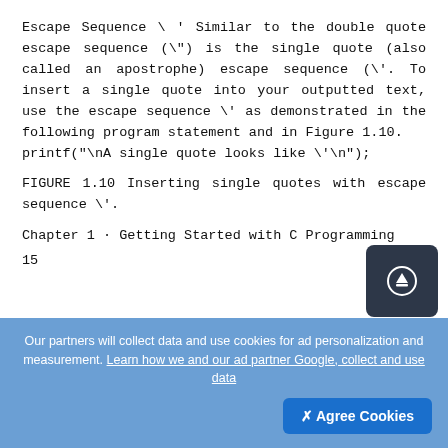Escape Sequence \' Similar to the double quote escape sequence (\") is the single quote (also called an apostrophe) escape sequence (\'. To insert a single quote into your outputted text, use the escape sequence \' as demonstrated in the following program statement and in Figure 1.10. printf("\nA single quote looks like \'\n");
FIGURE 1.10 Inserting single quotes with escape sequence \'.
Chapter 1 · Getting Started with C Programming
15